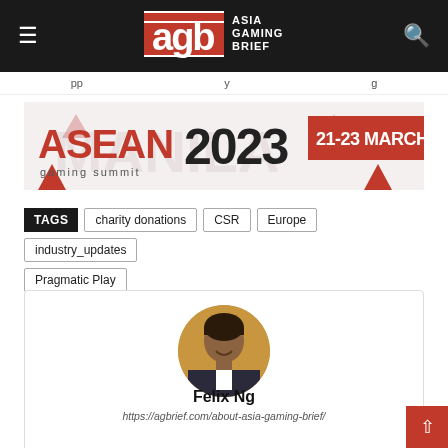Asia Gaming Brief (AGB) - Header navigation bar
[Figure (logo): Asia Gaming Brief (AGB) logo in white on dark background header bar]
[Figure (infographic): ASEAN Gaming Summit 2023 banner - 21-23 March]
TAGS  charity donations  CSR  Europe  industry_updates  Pragmatic Play
[Figure (photo): Circular profile photo of Felix Ng on golden/tan background]
Felix Ng
https://agbrief.com/about-asia-gaming-brief/